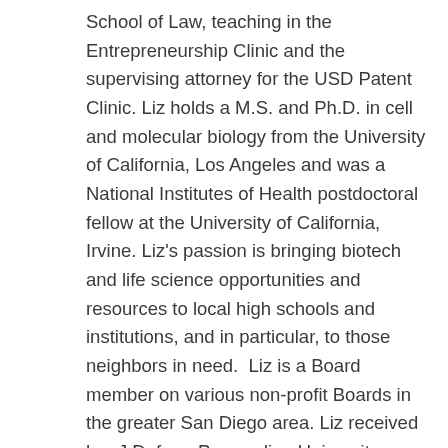School of Law, teaching in the Entrepreneurship Clinic and the supervising attorney for the USD Patent Clinic. Liz holds a M.S. and Ph.D. in cell and molecular biology from the University of California, Los Angeles and was a National Institutes of Health postdoctoral fellow at the University of California, Irvine. Liz's passion is bringing biotech and life science opportunities and resources to local high schools and institutions, and in particular, to those neighbors in need.  Liz is a Board member on various non-profit Boards in the greater San Diego area. Liz received her J.D. from Pepperdine University School of Law and her B.S. from Tulane University.